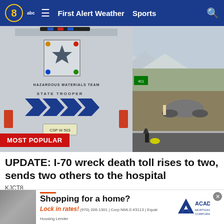8 abc  ≡  First Alert Weather  Sports  🔍
[Figure (photo): Rear view of a Colorado State Trooper Hazardous Materials Team vehicle on the highway, with an overturned vehicle visible in the background on the right side of the road. Mountains visible in the distance.]
MOST POPULAR
UPDATE: I-70 wreck death toll rises to two, sends two others to the hospital
KJCT8
[Figure (screenshot): Advertisement: Shopping for a home? Lock in rates! Academy Mortgage Corporation. (970) 208-1301 | Corp NMLS #3113 | Equal Housing Lender]